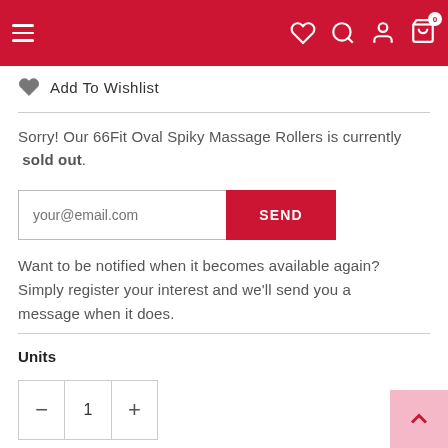Navigation bar with hamburger menu, heart/wishlist, search, account, and cart icons
Add To Wishlist
Sorry! Our 66Fit Oval Spiky Massage Rollers is currently sold out.
your@email.com  SEND
Want to be notified when it becomes available again? Simply register your interest and we'll send you a message when it does.
Units
– 1 +